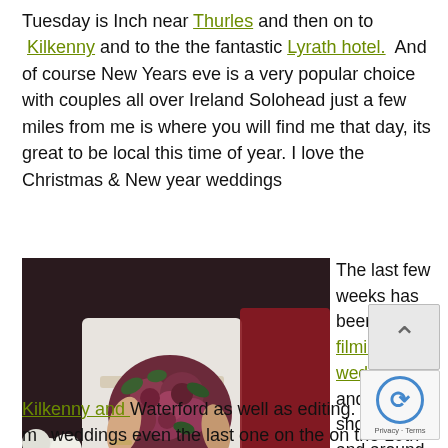Tuesday is Inch near Thurles and then on to Kilkenny and to the the fantastic Lyrath hotel. And of course New Years eve is a very popular choice with couples all over Ireland Solohead just a few miles from me is where you will find me that day, its great to be local this time of year. I love the Christmas & New year weddings
[Figure (photo): A bride holding a bouquet of purple/pink roses with green foliage, wearing a white gown with a decorative belt. A woman in red dress is partially visible behind.]
Wedding Videography Service in Kilkenny
The last few weeks has been hectic filming weddings and school shows in and around Tipperary along
Kilkenny and Waterford as well as editing. But ALL my weddings even the last one on the on the 19th of December,